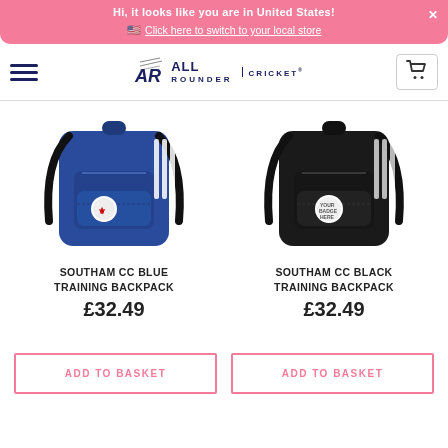Hi, it looks like you are in United States! 🇺🇸 Click here to switch to your local store
[Figure (logo): All Rounder Cricket logo with hamburger menu and cart icon]
[Figure (photo): Southam CC Blue Training Backpack - blue backpack with white stripes and club crest]
SOUTHAM CC BLUE TRAINING BACKPACK
£32.49
[Figure (photo): Southam CC Black Training Backpack - black backpack with white stripes and badge]
SOUTHAM CC BLACK TRAINING BACKPACK
£32.49
ADD TO BASKET
ADD TO BASKET